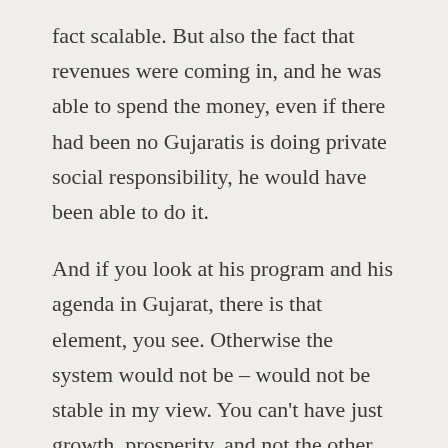fact scalable. But also the fact that revenues were coming in, and he was able to spend the money, even if there had been no Gujaratis is doing private social responsibility, he would have been able to do it.
And if you look at his program and his agenda in Gujarat, there is that element, you see. Otherwise the system would not be – would not be stable in my view. You can't have just growth, prosperity, and not the other leg on which you stand. But he has that other leg.
KAYE: So let's – I'm going to come back to something you touched on. You sort of used Gujarat as sort of the example. And I think a lot of people